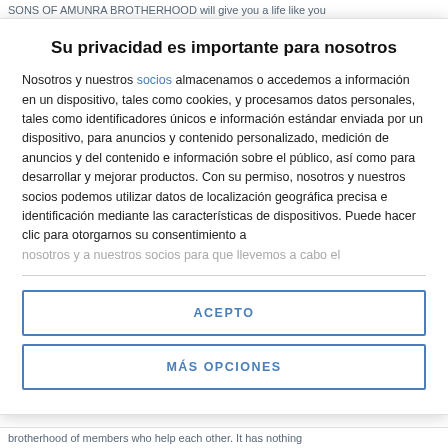SONS OF AMUNRA BROTHERHOOD will give you a life like you
Su privacidad es importante para nosotros
Nosotros y nuestros socios almacenamos o accedemos a información en un dispositivo, tales como cookies, y procesamos datos personales, tales como identificadores únicos e información estándar enviada por un dispositivo, para anuncios y contenido personalizados, medición de anuncios y del contenido e información sobre el público, así como para desarrollar y mejorar productos. Con su permiso, nosotros y nuestros socios podemos utilizar datos de localización geográfica precisa e identificación mediante las características de dispositivos. Puede hacer clic para otorgarnos su consentimiento a nosotros y a nuestros socios para que llevemos a cabo el
ACEPTO
MÁS OPCIONES
brotherhood of members who help each other. It has nothing